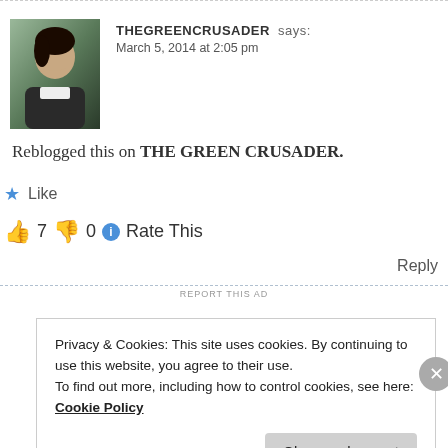THEGREENCRUSADER says: March 5, 2014 at 2:05 pm
Reblogged this on THE GREEN CRUSADER.
👍 7 👎 0 ℹ Rate This
Reply
REPORT THIS AD
Privacy & Cookies: This site uses cookies. By continuing to use this website, you agree to their use.
To find out more, including how to control cookies, see here: Cookie Policy
Close and accept